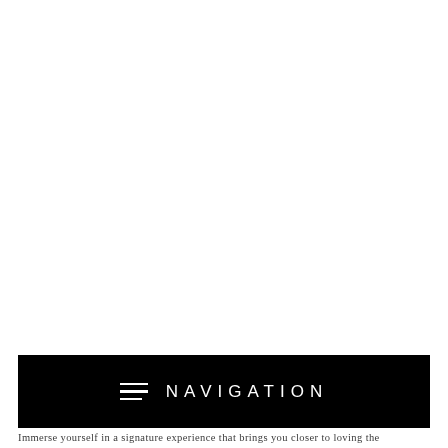[Figure (screenshot): White blank area occupying the upper portion of the page]
[Figure (infographic): Black navigation bar with hamburger menu icon and 'NAVIGATION' text in white uppercase spaced letters]
Immerse yourself in a signature experience that brings you closer to loving the